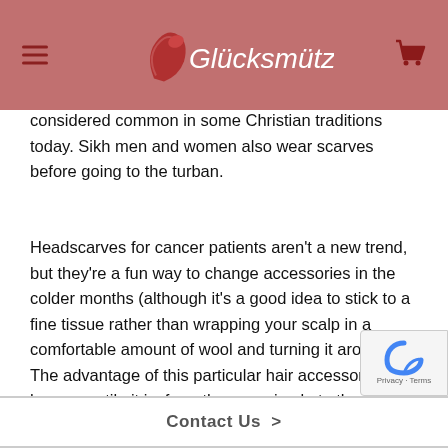Glücksmütze
considered common in some Christian traditions today. Sikh men and women also wear scarves before going to the turban.
Headscarves for cancer patients aren't a new trend, but they're a fun way to change accessories in the colder months (although it's a good idea to stick to a fine tissue rather than wrapping your scalp in a comfortable amount of wool and turning it around). The advantage of this particular hair accessory is how versatile it is–from the very simple to the intricate details, many different styles can be achieved with one scarf.
Contact Us >